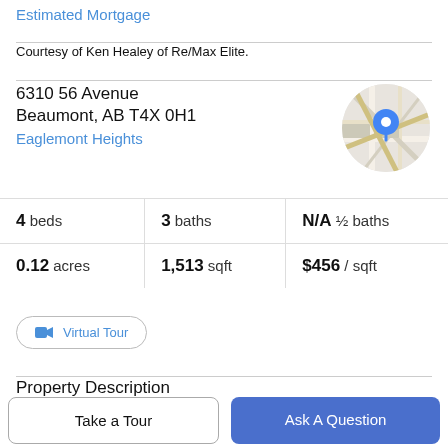Estimated Mortgage
Courtesy of Ken Healey of Re/Max Elite.
6310 56 Avenue
Beaumont, AB T4X 0H1
Eaglemont Heights
[Figure (map): Circular map thumbnail showing street map with a blue location pin marker in the center]
| 4 beds | 3 baths | N/A ½ baths |
| 0.12 acres | 1,513 sqft | $456 / sqft |
Virtual Tour
Property Description
Take a Tour
Ask A Question